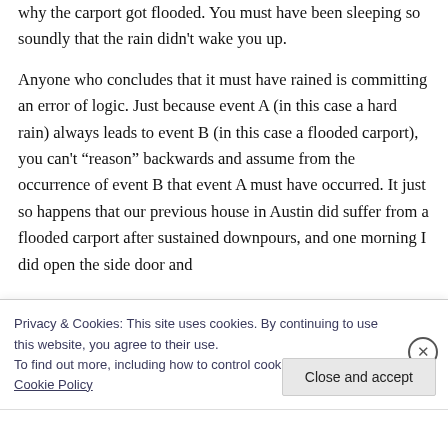why the carport got flooded. You must have been sleeping so soundly that the rain didn't wake you up.
Anyone who concludes that it must have rained is committing an error of logic. Just because event A (in this case a hard rain) always leads to event B (in this case a flooded carport), you can't "reason" backwards and assume from the occurrence of event B that event A must have occurred. It just so happens that our previous house in Austin did suffer from a flooded carport after sustained downpours, and one morning I did open the side door and
Privacy & Cookies: This site uses cookies. By continuing to use this website, you agree to their use.
To find out more, including how to control cookies, see here: Cookie Policy
Close and accept